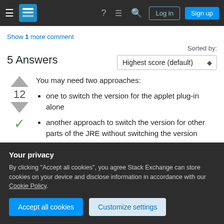Stack Exchange navigation bar with hamburger menu, logo, help, chat, search icons, Log in and Sign up buttons
Show 1 more comment
5 Answers
Sorted by: Highest score (default)
You may need two approaches:
one to switch the version for the applet plug-in alone
another approach to switch the version for other parts of the JRE without switching the version
Your privacy
By clicking "Accept all cookies", you agree Stack Exchange can store cookies on your device and disclose information in accordance with our Cookie Policy.
Accept all cookies   Customize settings